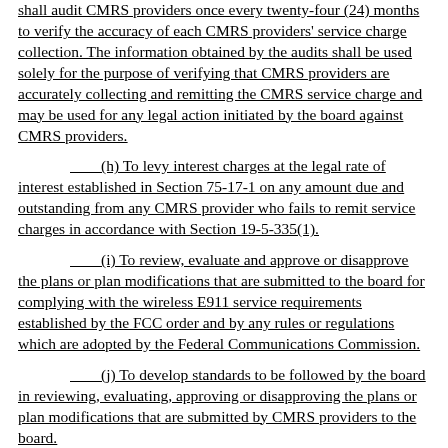shall audit CMRS providers once every twenty-four (24) months to verify the accuracy of each CMRS providers' service charge collection.  The information obtained by the audits shall be used solely for the purpose of verifying that CMRS providers are accurately collecting and remitting the CMRS service charge and may be used for any legal action initiated by the board against CMRS providers.
(h)  To levy interest charges at the legal rate of interest established in Section 75-17-1 on any amount due and outstanding from any CMRS provider who fails to remit service charges in accordance with Section 19-5-335(1).
(i)  To review, evaluate and approve or disapprove the plans or plan modifications that are submitted to the board for complying with the wireless E911 service requirements established by the FCC order and by any rules or regulations which are adopted by the Federal Communications Commission.
(j)  To develop standards to be followed by the board in reviewing, evaluating, approving or disapproving the plans or plan modifications that are submitted by CMRS providers to the board.
* * *
(k)  To promulgate such rules and regulations as may be